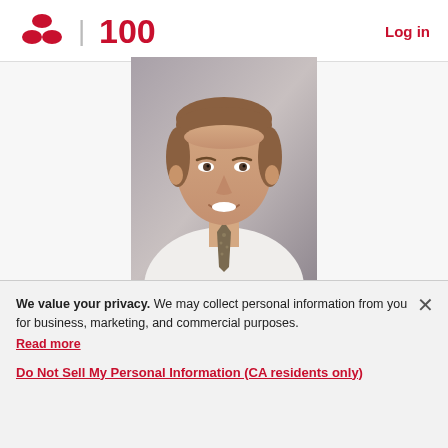Nationwide 100 | Log in
[Figure (photo): Professional headshot of a middle-aged man with short brown hair, wearing a white dress shirt and patterned tie, smiling, against a grey studio background.]
We value your privacy. We may collect personal information from you for business, marketing, and commercial purposes. Read more
Do Not Sell My Personal Information (CA residents only)